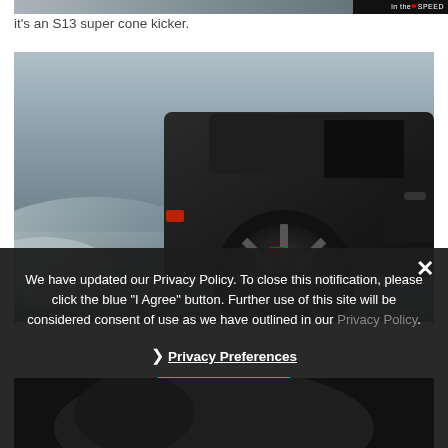[Figure (photo): Partial top edge of a car photo with a logo strip in top right corner reading 'in the SPEED']
it's an S13 super cone kicker.
[Figure (photo): Black Nissan S13 car drifting, rear wheel and tire prominently visible with motion blur and smoke, dark moody photography]
We have updated our Privacy Policy. To close this notification, please click the blue "I Agree" button. Further use of this site will be considered consent of use as we have outlined in our Privacy Policy.
❯ Privacy Preferences
I Agree
[Figure (photo): Dark partial photo at the bottom of the page, interior or close-up car shot]